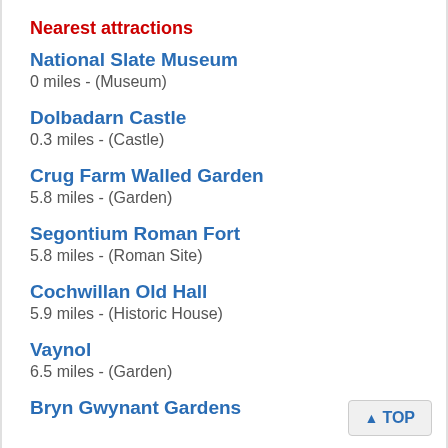Nearest attractions
National Slate Museum
0 miles - (Museum)
Dolbadarn Castle
0.3 miles - (Castle)
Crug Farm Walled Garden
5.8 miles - (Garden)
Segontium Roman Fort
5.8 miles - (Roman Site)
Cochwillan Old Hall
5.9 miles - (Historic House)
Vaynol
6.5 miles - (Garden)
Bryn Gwynant Gardens